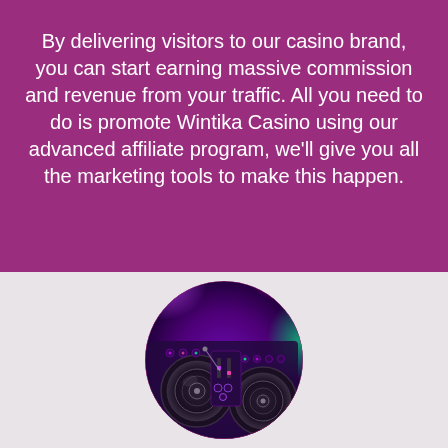By delivering visitors to our casino brand, you can start earning massive commission and revenue from your traffic. All you need to do is promote Wintika Casino using our advanced affiliate program, we'll give you all the marketing tools to make this happen.
[Figure (photo): A circular-cropped photo of a DJ console/turntable with purple and green neon lighting]